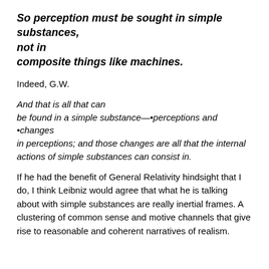So perception must be sought in simple substances, not in composite things like machines.
Indeed, G.W.
And that is all that can be found in a simple substance—•perceptions and •changes in perceptions; and those changes are all that the internal actions of simple substances can consist in.
If he had the benefit of General Relativity hindsight that I do, I think Leibniz would agree that what he is talking about with simple substances are really inertial frames. A clustering of common sense and motive channels that give rise to reasonable and coherent narratives of realism.